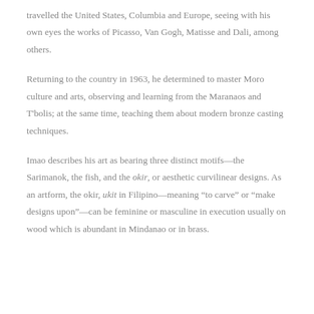travelled the United States, Columbia and Europe, seeing with his own eyes the works of Picasso, Van Gogh, Matisse and Dali, among others.
Returning to the country in 1963, he determined to master Moro culture and arts, observing and learning from the Maranaos and T'bolis; at the same time, teaching them about modern bronze casting techniques.
Imao describes his art as bearing three distinct motifs—the Sarimanok, the fish, and the okir, or aesthetic curvilinear designs. As an artform, the okir, ukit in Filipino—meaning “to carve” or “make designs upon”—can be feminine or masculine in execution usually on wood which is abundant in Mindanao or in brass.